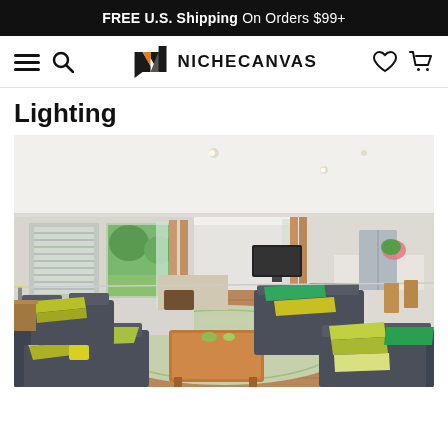FREE U.S. Shipping On Orders $99+
[Figure (logo): NicheCanvas logo with stylized N icon and text NICHECANVAS]
Lighting
[Figure (photo): Bright open-plan living room with grey sofas, yellow and green cushions, wooden coffee table, plantation shutters, open folding glass doors to garden, and view into kitchen with stainless steel fridge]